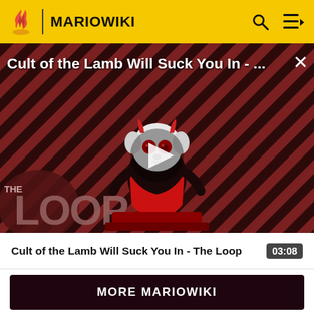MARIOWIKI
[Figure (screenshot): Video thumbnail for 'Cult of the Lamb Will Suck You In - The Loop' showing an animated lamb character with red eyes in a cult leader pose, with diagonal red and dark stripes background and 'THE LOOP' text overlay. A play button triangle is centered on the image.]
Cult of the Lamb Will Suck You In - ... ×
Cult of the Lamb Will Suck You In - The Loop   03:08
MORE MARIOWIKI